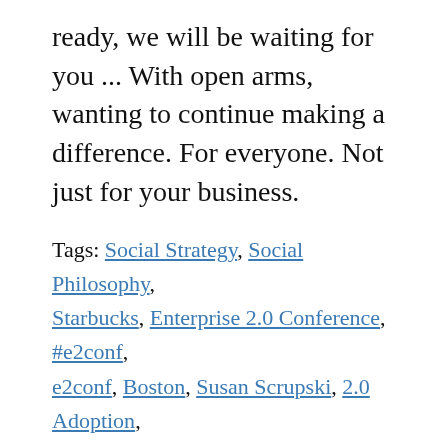ready, we will be waiting for you ... With open arms, wanting to continue making a difference. For everyone. Not just for your business.
Tags: Social Strategy, Social Philosophy, Starbucks, Enterprise 2.0 Conference, #e2conf, e2conf, Boston, Susan Scrupski, 2.0 Adoption, Bart Schutte, Jamie Pappas, Lee Bryant, Mary Maida, Dennis Howlett, Business Value, Return On Investment, ROI, ROI for Social Software, Financials, Quarter by Quarter, Sustainability, Sustainable Economy, Economy, Knowledge Economy, Hippie 2.0, Movements, Social Media